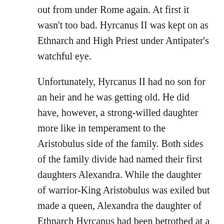out from under Rome again. At first it wasn't too bad. Hyrcanus II was kept on as Ethnarch and High Priest under Antipater's watchful eye.
Unfortunately, Hyrcanus II had no son for an heir and he was getting old. He did have, however, a strong-willed daughter more like in temperament to the Aristobulus side of the family. Both sides of the family divide had named their first daughters Alexandra. While the daughter of warrior-King Aristobulus was exiled but made a queen, Alexandra the daughter of Ethnarch Hyrcanus had been betrothed at a very young age to her first cousin Alexander son of Aristobulus. They were Prince and Princess of opposing sides in the family civil war. They had two daughters and one son before he had escaped Roman capture, returned to fight, was captured